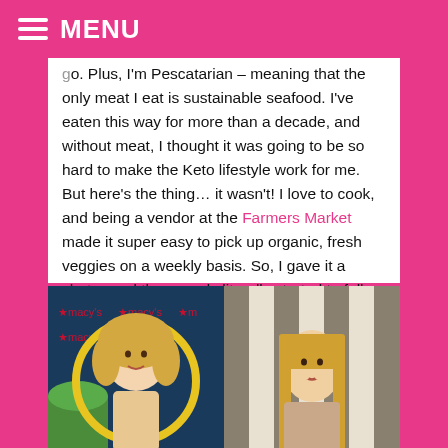MENU
go. Plus, I'm Pescatarian – meaning that the only meat I eat is sustainable seafood. I've eaten this way for more than a decade, and without meat, I thought it was going to be so hard to make the Keto lifestyle work for me. But here's the thing… it wasn't! I love to cook, and being a vendor at the Farmers Market made it super easy to pick up organic, fresh veggies on a weekly basis. So, I gave it a shot… and the pounds literally started to fall off!
[Figure (photo): Two side-by-side photos of a woman: left photo shows her with blonde curly hair at what appears to be a Macy's event with a yellow hoop; right photo shows her with straight blonde hair smiling at what appears to be a vendor booth with striped backdrop.]